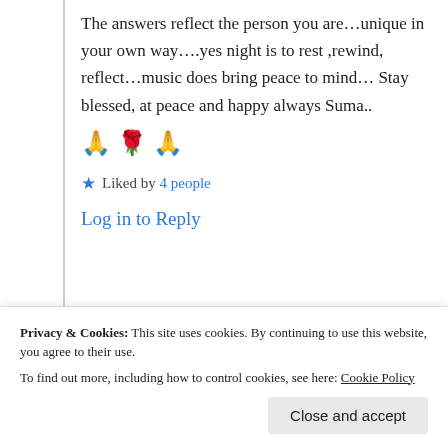The answers reflect the person you are…unique in your own way….yes night is to rest ,rewind, reflect…music does bring peace to mind… Stay blessed, at peace and happy always Suma.. 🙏 🌹 🙏
★ Liked by 4 people
Log in to Reply
Privacy & Cookies: This site uses cookies. By continuing to use this website, you agree to their use. To find out more, including how to control cookies, see here: Cookie Policy
Close and accept
words are priceless and thank you very